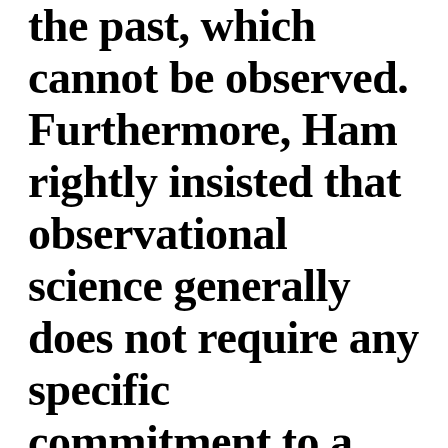the past, which cannot be observed. Furthermore, Ham rightly insisted that observational science generally does not require any specific commitment to a model of historical science. In other